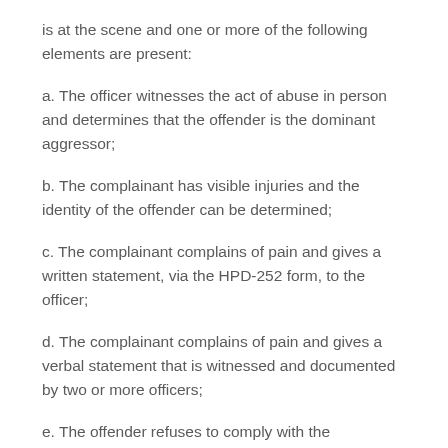is at the scene and one or more of the following elements are present:
a. The officer witnesses the act of abuse in person and determines that the offender is the dominant aggressor;
b. The complainant has visible injuries and the identity of the offender can be determined;
c. The complainant complains of pain and gives a written statement, via the HPD-252 form, to the officer;
d. The complainant complains of pain and gives a verbal statement that is witnessed and documented by two or more officers;
e. The offender refuses to comply with the